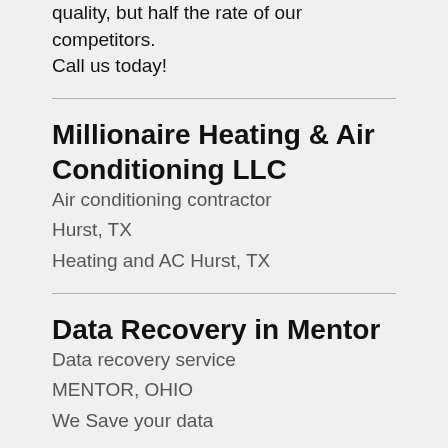quality, but half the rate of our competitors. Call us today!
Millionaire Heating & Air Conditioning LLC
Air conditioning contractor
Hurst, TX
Heating and AC Hurst, TX
Data Recovery in Mentor
Data recovery service
MENTOR, OHIO
We Save your data